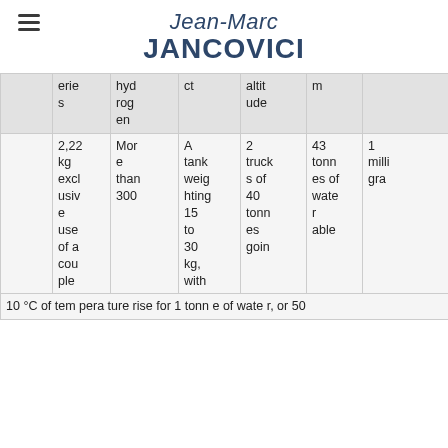Jean-Marc JANCOVICI
|  | eries | hyd rog en | ct | altit ude | m |  |
| --- | --- | --- | --- | --- | --- | --- |
| 2,22 kg excl usiv e use of a cou ple | Mor e than 300 | A tank weig hting 15 to 30 kg, with | 2 truck s of 40 tonn es goin | 43 tonn es of wate r able | 1 milli gra | 10 °C of tem pera ture rise for 1 tonn e of wate r, or 50 |